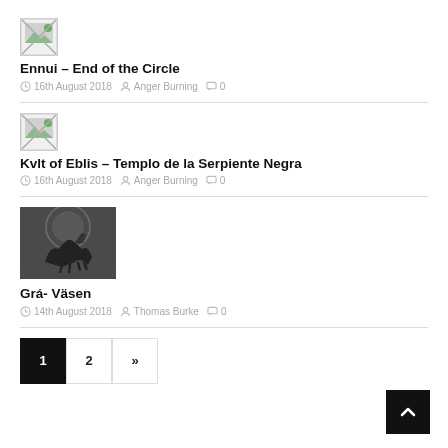[Figure (illustration): Broken image placeholder icon for Ennui post]
Ennui – End of the Circle
16th August 2018   Anger Burning   0
[Figure (illustration): Broken image placeholder icon for Kvlt of Eblis post]
Kvlt of Eblis – Templo de la Serpiente Negra
16th August 2018   Anger Burning   0
[Figure (photo): Black and white photo of a dog leaping with circular shape in background for Grá – Väsen post]
Grá- Väsen
14th August 2018   Thomas Burke   0
Pagination: 1  2  »